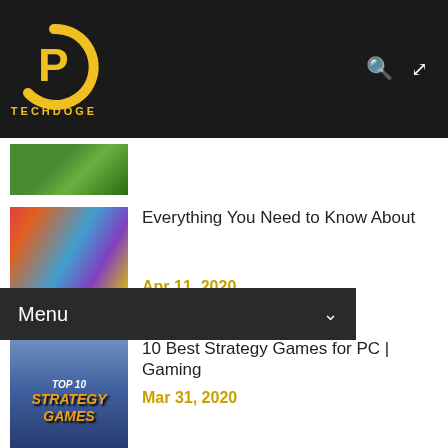[Figure (logo): TechDoge logo: yellow D letter with circular arc, text TECHDOGE below]
TechDoge — navigation header with search and shuffle icons
Menu
[Figure (photo): Partial green background thumbnail (top, partially cropped)]
Everything You Need to Know About
[Figure (photo): Colorful geometric shapes with laptop thumbnail for Responsive Design article]
Apr 11, 2020
[Figure (illustration): Top 10 Strategy Games thumbnail with gold text on blue background]
10 Best Strategy Games for PC | Gaming
Mar 31, 2020
[Figure (screenshot): How to Extract Text From Images thumbnail showing image to text arrow diagram]
How to Extract and Copy Text From Any Images
Mar 04, 2020
[Figure (photo): Blue digital abstract thumbnail for JavaScript trends article]
4 Trends In Javascript For Budding Coders